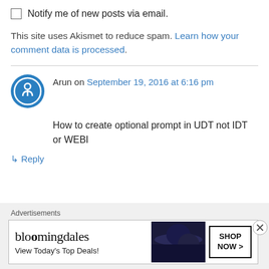Notify me of new posts via email.
This site uses Akismet to reduce spam. Learn how your comment data is processed.
Arun on September 19, 2016 at 6:16 pm
How to create optional prompt in UDT not IDT or WEBI
↳ Reply
[Figure (other): Advertisement banner for Bloomingdale's: 'bloomingdales - View Today's Top Deals!' with SHOP NOW > button and a woman in a wide-brim hat]